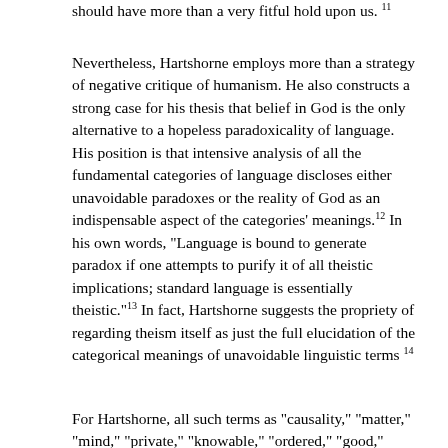should have more than a very fitful hold upon us. 11
Nevertheless, Hartshorne employs more than a strategy of negative critique of humanism. He also constructs a strong case for his thesis that belief in God is the only alternative to a hopeless paradoxicality of language. His position is that intensive analysis of all the fundamental categories of language discloses either unavoidable paradoxes or the reality of God as an indispensable aspect of the categories' meanings.12 In his own words, "Language is bound to generate paradox if one attempts to purify it of all theistic implications; standard language is essentially theistic."13 In fact, Hartshorne suggests the propriety of regarding theism itself as just the full elucidation of the categorical meanings of unavoidable linguistic terms 14
For Hartshorne, all such terms as "causality," "matter," "mind," "private," "knowable," "ordered," "good," "evil,"